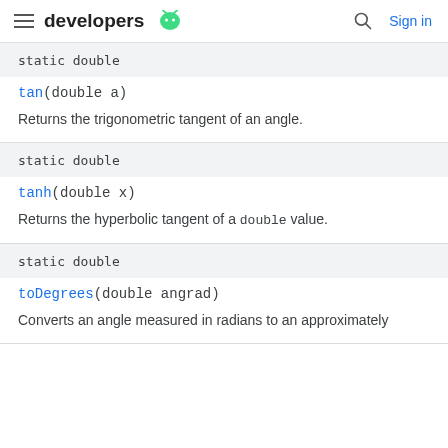developers [android logo] | Search | Sign in
static double
tan(double a)
Returns the trigonometric tangent of an angle.
static double
tanh(double x)
Returns the hyperbolic tangent of a double value.
static double
toDegrees(double angrad)
Converts an angle measured in radians to an approximately equivalent degree measurement.